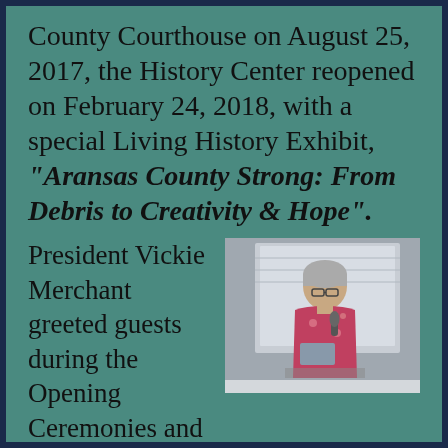County Courthouse on August 25, 2017, the History Center reopened on February 24, 2018, with a special Living History Exhibit, "Aransas County Strong: From Debris to Creativity & Hope".
President Vickie Merchant greeted guests during the Opening Ceremonies and said this four-year-old organization is
[Figure (photo): A woman speaking at a podium or lectern, holding a microphone, wearing a floral/patterned shirt, with grey hair and glasses, in front of a grey/blue wall.]